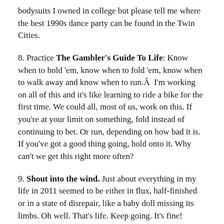bodysuits I owned in college but please tell me where the best 1990s dance party can be found in the Twin Cities.
8. Practice The Gambler's Guide To Life: Know when to hold 'em, know when to fold 'em, know when to walk away and know when to run.Â  I'm working on all of this and it's like learning to ride a bike for the first time. We could all, most of us, work on this. If you're at your limit on something, fold instead of continuing to bet. Or run, depending on how bad it is. If you've got a good thing going, hold onto it. Why can't we get this right more often?
9. Shout into the wind. Just about everything in my life in 2011 seemed to be either in flux, half-finished or in a state of disrepair, like a baby doll missing its limbs. Oh well. That's life. Keep going. It's fine!
No, really, it is.